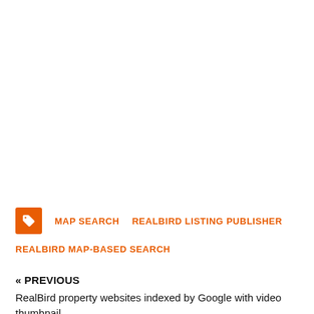MAP SEARCH   REALBIRD LISTING PUBLISHER
REALBIRD MAP-BASED SEARCH
« PREVIOUS
RealBird property websites indexed by Google with video thumbnail